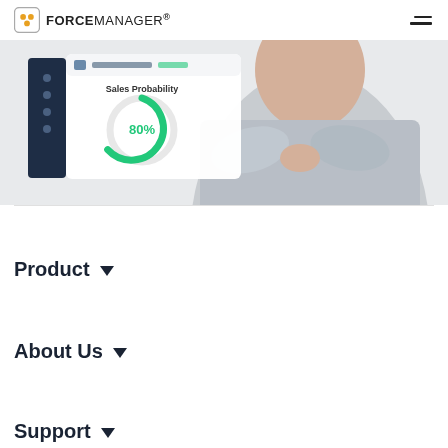ForceManager (logo) [hamburger menu]
[Figure (screenshot): Screenshot of ForceManager app interface showing a 'Sales Probability' donut chart with 80% value, overlaid on an image of a man in a grey shirt with arms crossed]
Product ▼
About Us ▼
Support ▼